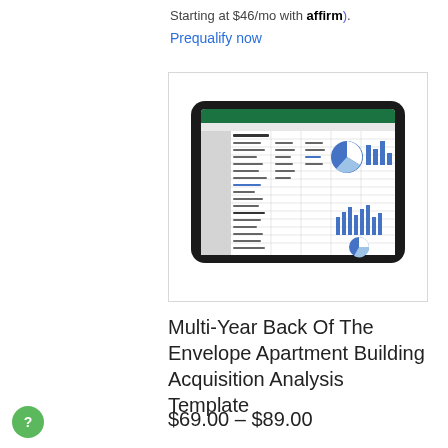Starting at $46/mo with affirm).
Prequalify now
[Figure (screenshot): A tablet (iPad) displaying a multi-tab spreadsheet with financial analysis charts including bar charts, pie charts, and data tables related to an apartment building acquisition analysis.]
Multi-Year Back Of The Envelope Apartment Building Acquisition Analysis Template
$69.00 – $89.00